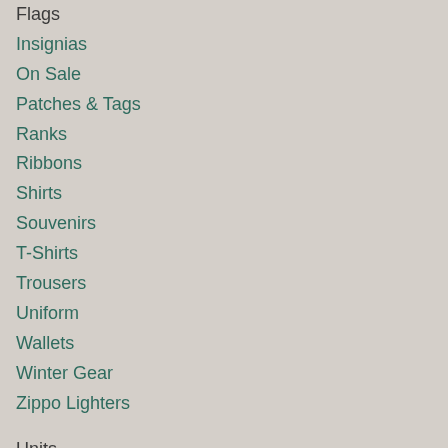Flags
Insignias
On Sale
Patches & Tags
Ranks
Ribbons
Shirts
Souvenirs
T-Shirts
Trousers
Uniform
Wallets
Winter Gear
Zippo Lighters
Units
Air Force
Armor Corps
Army Field Forces
Artillery Corps